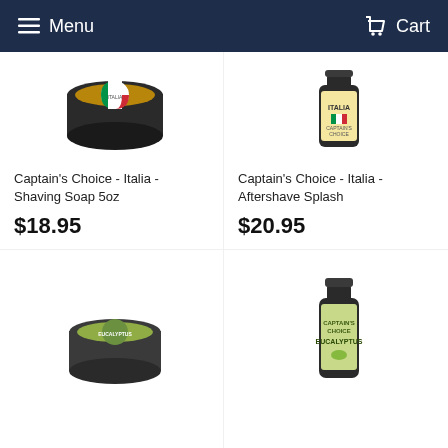Menu  Cart
[Figure (photo): Captain's Choice Italia Shaving Soap 5oz tin product image]
Captain's Choice - Italia - Shaving Soap 5oz
$18.95
[Figure (photo): Captain's Choice Italia Aftershave Splash bottle product image]
Captain's Choice - Italia - Aftershave Splash
$20.95
[Figure (photo): Captain's Choice Eucalyptus shaving soap tin product image]
[Figure (photo): Captain's Choice Eucalyptus aftershave splash bottle product image]